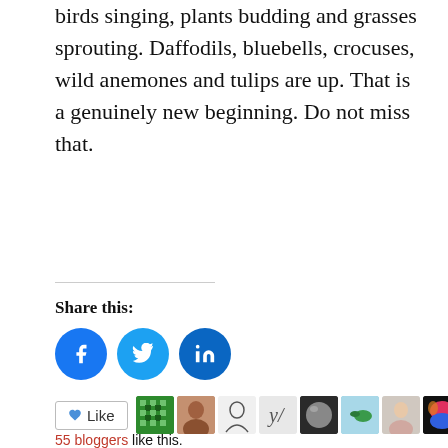birds singing, plants budding and grasses sprouting. Daffodils, bluebells, crocuses, wild anemones and tulips are up. That is a genuinely new beginning. Do not miss that.
Share this:
[Figure (infographic): Facebook, Twitter and LinkedIn share buttons as blue circles with white icons]
[Figure (infographic): WordPress Like button and row of 10 blogger avatar thumbnails]
55 bloggers like this.
Related
[Figure (photo): Photo of red flowers]
[Figure (photo): Photo of purple crocus flowers]